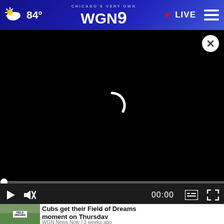84° CHICAGO'S VERY OWN WGN9 • LIVE
[Figure (screenshot): Video player showing black screen with loading spinner arc and close button]
Demola the Violinist performs live
[Figure (screenshot): Thumbnail image of Cubs Field of Dreams article]
Cubs get their Field of Dreams moment on Thursday
WGN News Now / 3 weeks ago